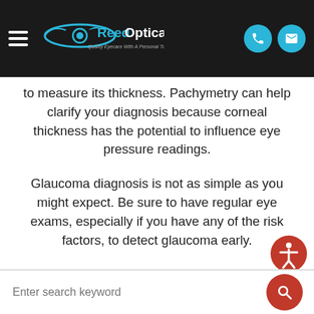[Figure (logo): Reed Optical logo with eye graphic, white text on dark background, tagline: Quality Eyecare With A Personal Touch]
to measure its thickness. Pachymetry can help clarify your diagnosis because corneal thickness has the potential to influence eye pressure readings.
Glaucoma diagnosis is not as simple as you might expect. Be sure to have regular eye exams, especially if you have any of the risk factors, to detect glaucoma early.
Enter search keyword